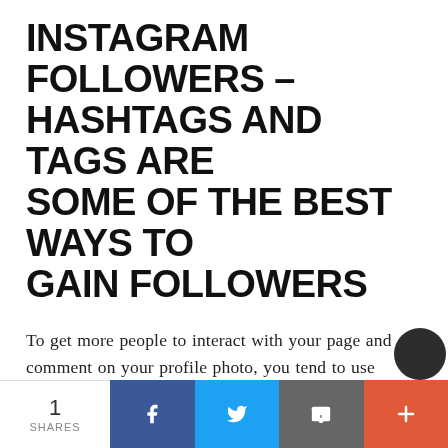INSTAGRAM FOLLOWERS – HASHTAGS AND TAGS ARE SOME OF THE BEST WAYS TO GAIN FOLLOWERS
To get more people to interact with your page and comment on your profile photo, you tend to use specific words, phrases, and trends to bring awareness and attention to your page. We have the perfect solution for you!
Are you learning how to get more Instagram followers?